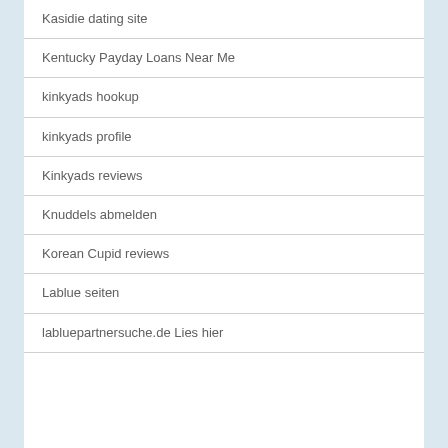Kasidie dating site
Kentucky Payday Loans Near Me
kinkyads hookup
kinkyads profile
Kinkyads reviews
Knuddels abmelden
Korean Cupid reviews
Lablue seiten
labluepartnersuche.de Lies hier